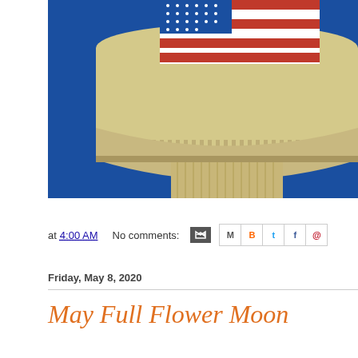[Figure (photo): Close-up photograph of a water tower with an American flag painted on it, against a bright blue sky background. The tower has a tan/beige cylindrical tank and a fluted base.]
at 4:00 AM   No comments:
Friday, May 8, 2020
May Full Flower Moon